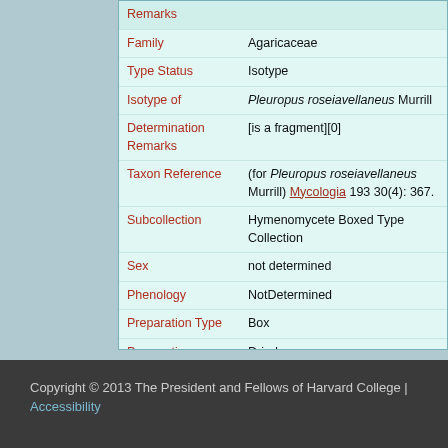| Field | Value |
| --- | --- |
| Remarks |  |
| Family | Agaricaceae |
| Type Status | Isotype |
| Isotype of | Pleuropus roseiavellaneus Murrill |
| Determination Remarks | [is a fragment][0] |
| Taxon Reference | (for Pleuropus roseiavellaneus Murrill) Mycologia 193 30(4): 367. |
| Subcollection | Hymenomycete Boxed Type Collection |
| Sex | not determined |
| Phenology | NotDetermined |
| Preparation Type | Box |
| Preparation Method | Dried |
Copyright © 2013 The President and Fellows of Harvard College | Accessibility